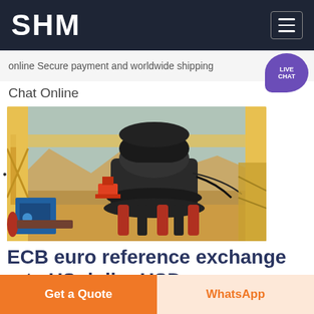SHM
online Secure payment and worldwide shipping
Chat Online
[Figure (photo): Industrial cone crusher machine installed at an open-pit mining site, with yellow structural framework, mountains and earthmoving vehicles in background, blue electrical cabinet on the left.]
ECB euro reference exchange rate US dollar USD